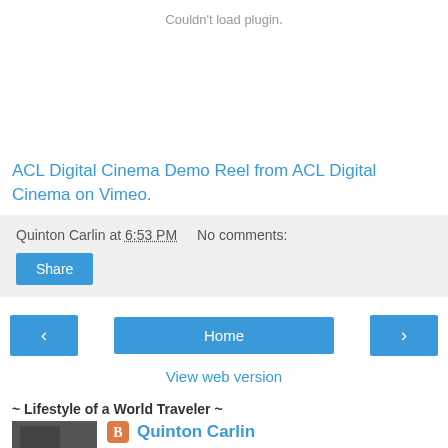Couldn't load plugin.
ACL Digital Cinema Demo Reel from ACL Digital Cinema on Vimeo.
Quinton Carlin at 6:53 PM   No comments:
Share
‹
Home
›
View web version
~ Lifestyle of a World Traveler ~
Quinton Carlin